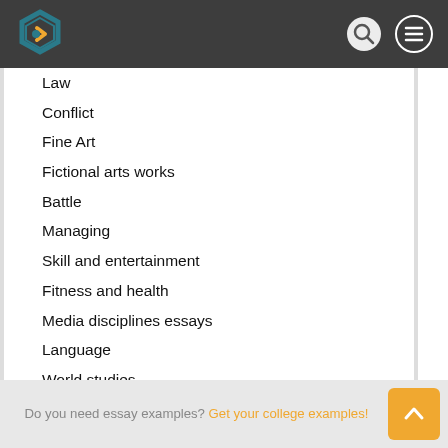[Figure (logo): Website header with hexagonal logo, search icon, and hamburger menu icon on dark grey background]
Law
Conflict
Fine Art
Fictional arts works
Battle
Managing
Skill and entertainment
Fitness and health
Media disciplines essays
Language
World studies
Personal issues
Info science
Do you need essay examples? Get your college examples!